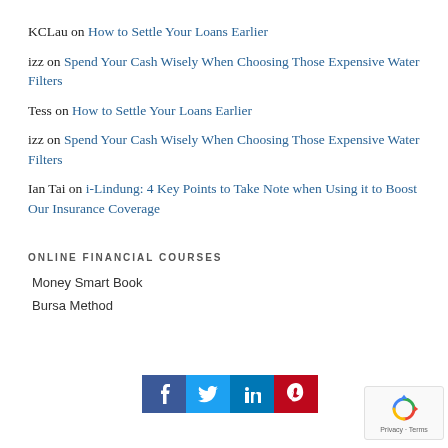KCLau on How to Settle Your Loans Earlier
izz on Spend Your Cash Wisely When Choosing Those Expensive Water Filters
Tess on How to Settle Your Loans Earlier
izz on Spend Your Cash Wisely When Choosing Those Expensive Water Filters
Ian Tai on i-Lindung: 4 Key Points to Take Note when Using it to Boost Our Insurance Coverage
ONLINE FINANCIAL COURSES
Money Smart Book
Bursa Method
[Figure (other): Social sharing buttons: Facebook, Twitter, LinkedIn, Pinterest]
[Figure (other): reCAPTCHA privacy badge]